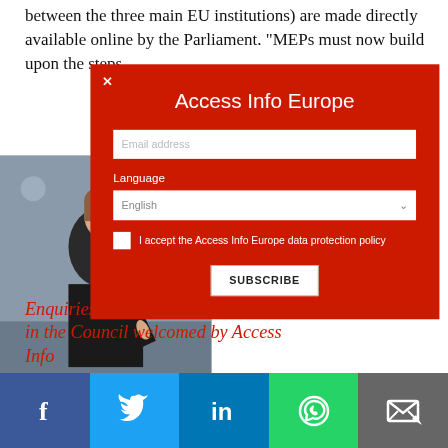between the three main EU institutions) are made directly available online by the Parliament. “MEPs must now build upon the steps
[Figure (photo): Woman in dark jacket at what appears to be a parliamentary or official meeting, raising her hand or pointing]
[Figure (infographic): Red modal popup overlay for Access Info Europe newsletter signup with email address field, language dropdown (English), data protection policy checkbox, and Subscribe button]
Enquiries on lobbying in the Council welcomed by Access Info
Social share bar with Facebook, Twitter, LinkedIn, WhatsApp, and Email icons